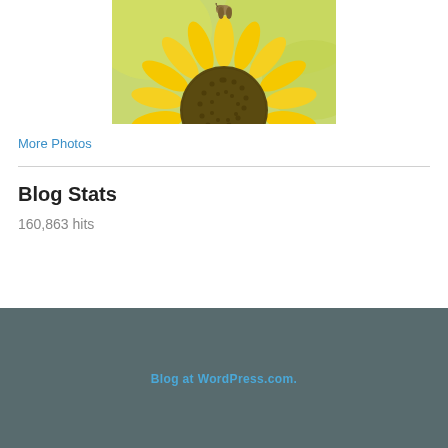[Figure (photo): Photo of a bird perched on the back of a sunflower with yellow petals and green background]
More Photos
Blog Stats
160,863 hits
Blog at WordPress.com.